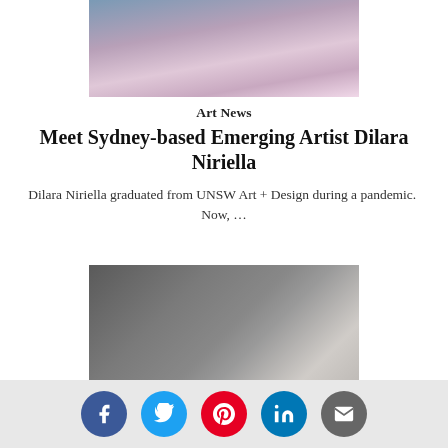[Figure (photo): Top portion of a photo showing a person with long curly hair wearing a pink outfit, partially cropped]
Art News
Meet Sydney-based Emerging Artist Dilara Niriella
Dilara Niriella graduated from UNSW Art + Design during a pandemic.  Now, …
[Figure (photo): Photo of a person with dark hair tied back wearing a dark top, leaning forward with eyes closed, against a grey wall with light coming from the right]
[Figure (infographic): Social media share bar with Facebook, Twitter, Pinterest, LinkedIn, and Email icons]